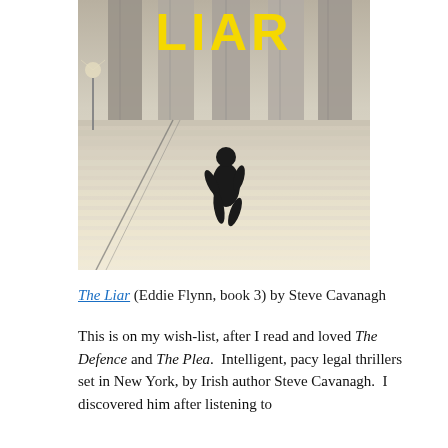[Figure (photo): Book cover of 'The Liar' by Steve Cavanagh showing the word LIAR in large yellow letters at the top, with a silhouetted figure in a suit climbing wide stone steps toward large classical columns, in a sepia/black-and-white toned photograph.]
The Liar (Eddie Flynn, book 3) by Steve Cavanagh
This is on my wish-list, after I read and loved The Defence and The Plea.  Intelligent, pacy legal thrillers set in New York, by Irish author Steve Cavanagh.  I discovered him after listening to